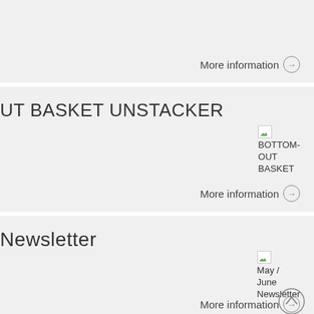More information →
UT BASKET UNSTACKER
[Figure (illustration): Broken image placeholder labeled BOTTOM-OUT BASKET]
More information →
Newsletter
[Figure (illustration): Broken image placeholder labeled May / June Newsletter]
More information →